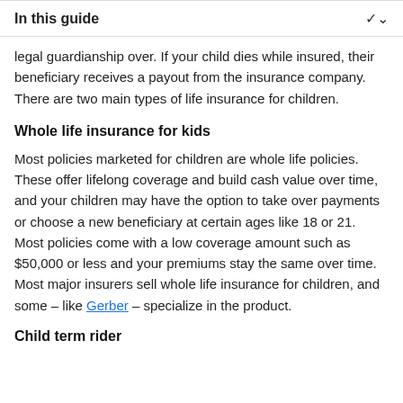In this guide
legal guardianship over. If your child dies while insured, their beneficiary receives a payout from the insurance company. There are two main types of life insurance for children.
Whole life insurance for kids
Most policies marketed for children are whole life policies. These offer lifelong coverage and build cash value over time, and your children may have the option to take over payments or choose a new beneficiary at certain ages like 18 or 21. Most policies come with a low coverage amount such as $50,000 or less and your premiums stay the same over time. Most major insurers sell whole life insurance for children, and some – like Gerber – specialize in the product.
Child term rider